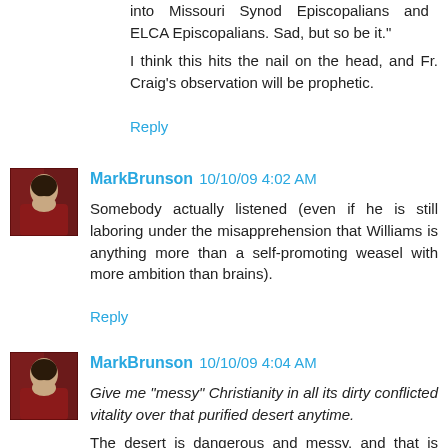into Missouri Synod Episcopalians and ELCA Episcopalians. Sad, but so be it."
I think this hits the nail on the head, and Fr. Craig's observation will be prophetic.
Reply
[Figure (photo): Avatar image of MarkBrunson — portrait illustration with dark reddish background]
MarkBrunson 10/10/09 4:02 AM
Somebody actually listened (even if he is still laboring under the misapprehension that Williams is anything more than a self-promoting weasel with more ambition than brains).
Reply
[Figure (photo): Avatar image of MarkBrunson — portrait illustration with dark reddish background]
MarkBrunson 10/10/09 4:04 AM
Give me "messy" Christianity in all its dirty conflicted vitality over that purified desert anytime.
The desert is dangerous and messy, and that is where so